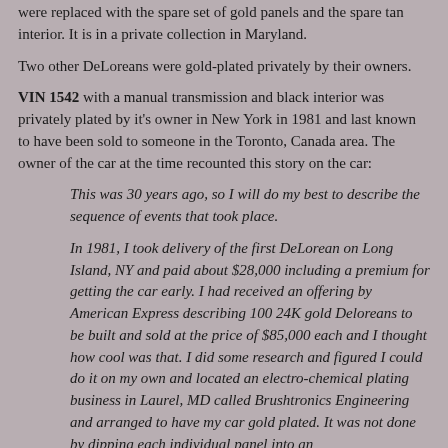were replaced with the spare set of gold panels and the spare tan interior. It is in a private collection in Maryland.
Two other DeLoreans were gold-plated privately by their owners.
VIN 1542 with a manual transmission and black interior was privately plated by it's owner in New York in 1981 and last known to have been sold to someone in the Toronto, Canada area. The owner of the car at the time recounted this story on the car:
This was 30 years ago, so I will do my best to describe the sequence of events that took place.
In 1981, I took delivery of the first DeLorean on Long Island, NY and paid about $28,000 including a premium for getting the car early. I had received an offering by American Express describing 100 24K gold Deloreans to be built and sold at the price of $85,000 each and I thought how cool was that. I did some research and figured I could do it on my own and located an electro-chemical plating business in Laurel, MD called Brushtronics Engineering and arranged to have my car gold plated. It was not done by dipping each individual panel into an